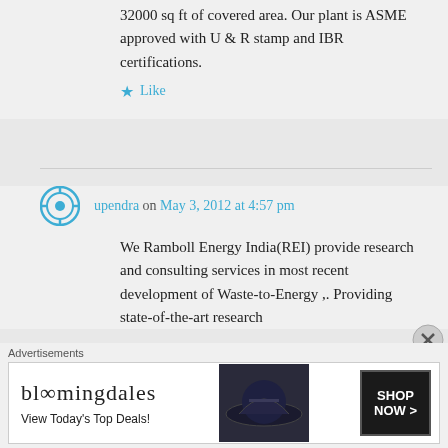32000 sq ft of covered area. Our plant is ASME approved with U & R stamp and IBR certifications.
★ Like
upendra on May 3, 2012 at 4:57 pm
We Ramboll Energy India(REI) provide research and consulting services in most recent development of Waste-to-Energy ,. Providing state-of-the-art research
Advertisements
[Figure (screenshot): Bloomingdale's advertisement banner: 'bloomingdales View Today’s Top Deals!' with SHOP NOW > button and image of woman in hat]